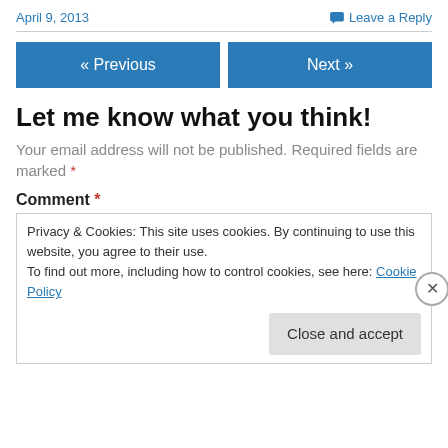April 9, 2013   Leave a Reply
« Previous   Next »
Let me know what you think!
Your email address will not be published. Required fields are marked *
Comment *
Privacy & Cookies: This site uses cookies. By continuing to use this website, you agree to their use. To find out more, including how to control cookies, see here: Cookie Policy
Close and accept